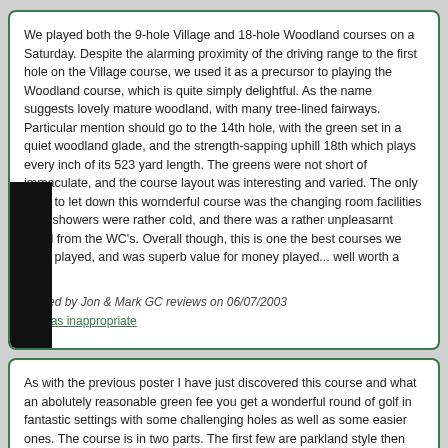We played both the 9-hole Village and 18-hole Woodland courses on a Saturday. Despite the alarming proximity of the driving range to the first hole on the Village course, we used it as a precursor to playing the Woodland course, which is quite simply delightful. As the name suggests lovely mature woodland, with many tree-lined fairways. Particular mention should go to the 14th hole, with the green set in a quiet woodland glade, and the strength-sapping uphill 18th which plays every inch of its 523 yard length. The greens were not short of immaculate, and the course layout was interesting and varied. The only thing to let down this wonderful course was the changing room facilities - the showers were rather cold, and there was a rather unpleasant smell from the WC's. Overall though, this is one the best courses we have played, and was superb value for the money played... well worth a visit.
Posted by Jon & Mark GC reviews on 06/07/2003
Flag as inappropriate
As with the previous poster I have just discovered this course and what an absolute gem. For a reasonable green fee you get a wonderful round of golf in fantastic settings with some challenging holes as well as some easier ones. The course is in two parts. The first few are parkland style, then the middle section takes you up into the pine forest with some tight fairways where accuracy is a must. Some cracking blind holes and one or two tricky doglegs in the woods before you exit the forest back onto the parklans style finish. I thought the fairways were cut very low but I guess and figure this is purely due to the time of year but the greens were very bobbly and consequently very difficult.The last few holes perhaps let the course down a bit but really I can't se